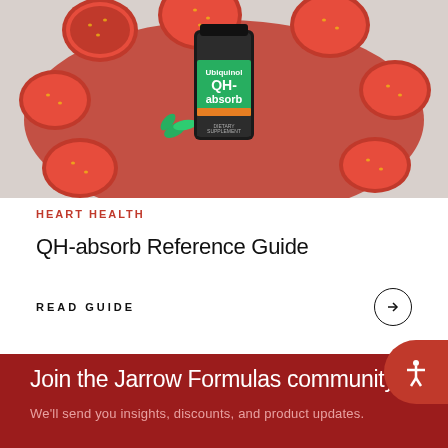[Figure (photo): A bottle of QH-absorb Ubiquinol supplement surrounded by sliced strawberries on a marble background, viewed from above.]
HEART HEALTH
QH-absorb Reference Guide
READ GUIDE
Join the Jarrow Formulas community
We'll send you insights, discounts, and product updates.